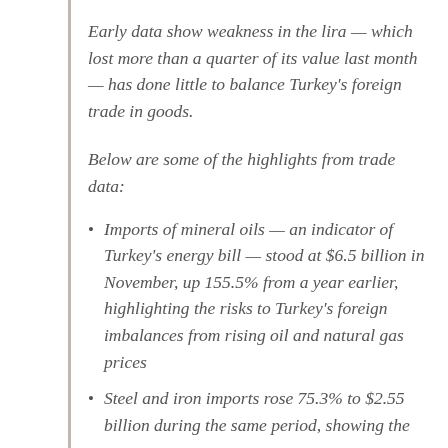Early data show weakness in the lira — which lost more than a quarter of its value last month — has done little to balance Turkey's foreign trade in goods.
Below are some of the highlights from trade data:
Imports of mineral oils — an indicator of Turkey's energy bill — stood at $6.5 billion in November, up 155.5% from a year earlier, highlighting the risks to Turkey's foreign imbalances from rising oil and natural gas prices
Steel and iron imports rose 75.3% to $2.55 billion during the same period, showing the